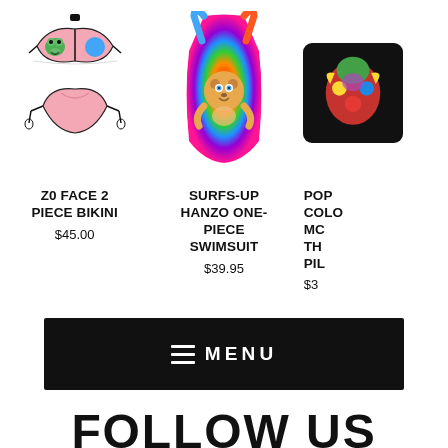[Figure (photo): Z0 Face 2 Piece Bikini - pink bikini with cartoon frog and blue circle design, black ties]
Z0 FACE 2 PIECE BIKINI
$45.00
[Figure (photo): Surfs-Up Hanzo One-Piece Swimsuit - tie-dye rainbow swimsuit with cartoon bear character]
SURFS-UP HANZO ONE-PIECE SWIMSUIT
$39.95
[Figure (photo): Pop Color Monkey Throw Pillow - black pillow with colorful monkey/heart design (partially visible)]
POP COLOR MC THROW PIL...
$3...
[Figure (screenshot): Navigation menu bar - black background with hamburger menu icon and MENU text]
FOLLOW US